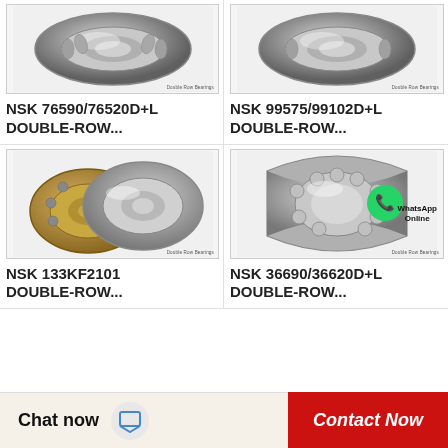[Figure (photo): NSK double-row tapered roller bearing 76590/76520D+L, metallic silver bearing shown from an angle]
NSK 76590/76520D+L DOUBLE-ROW...
[Figure (photo): NSK double-row tapered roller bearing 99575/99102D+L, metallic silver bearing shown from an angle]
NSK 99575/99102D+L DOUBLE-ROW...
[Figure (photo): NSK 133KF2101 double-row angular contact ball bearings with gold cage, two bearings shown side by side]
NSK 133KF2101 DOUBLE-ROW...
[Figure (photo): NSK 36690/36620D+L double-row ball bearing cutaway view showing balls, with WhatsApp Online overlay icon]
NSK 36690/36620D+L DOUBLE-ROW...
Chat now
Contact Now